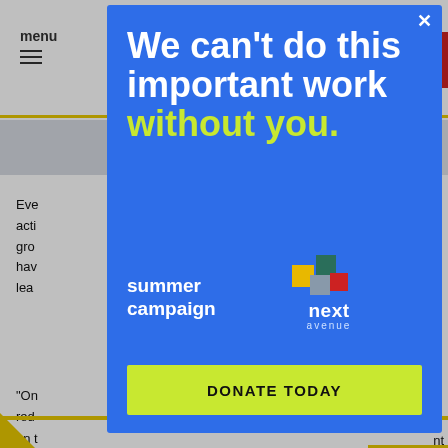[Figure (screenshot): Background webpage showing navigation menu with hamburger icon, yellow border bar, blue-gray accent blocks, body text paragraphs, and a red donate button in top right corner]
[Figure (infographic): Blue modal overlay advertisement for Next Avenue summer campaign. White bold text reads 'We can't do this important work' and lime-green text reads 'without you.' Below is 'summer campaign' in white bold text, the Next Avenue logo with colorful squares, and a lime-green 'DONATE TODAY' button. An X close button appears in the top right of the modal.]